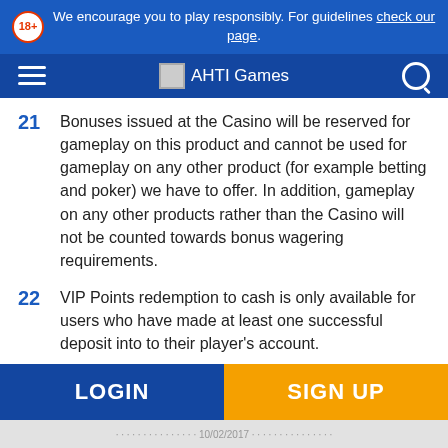We encourage you to play responsibly. For guidelines check our page.
[Figure (logo): AHTI Games navigation bar with hamburger menu, logo, and search icon]
21  Bonuses issued at the Casino will be reserved for gameplay on this product and cannot be used for gameplay on any other product (for example betting and poker) we have to offer. In addition, gameplay on any other products rather than the Casino will not be counted towards bonus wagering requirements.
22  VIP Points redemption to cash is only available for users who have made at least one successful deposit into to their player's account.
LOGIN  SIGN UP